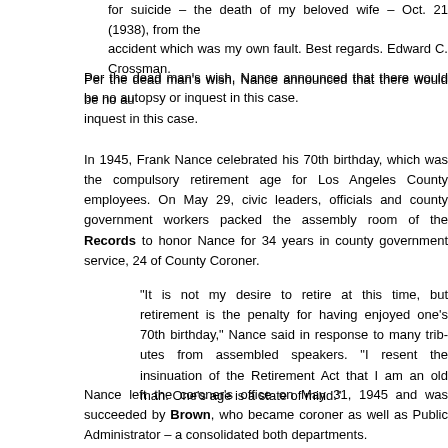for suicide – the death of my beloved wife – Oct. 21 (1938), from the accident which was my own fault. Best regards. Edward C. Crossman.
Per the dead man's wish, Nance announced that there would be no autopsy or inquest in this case.
In 1945, Frank Nance celebrated his 70th birthday, which was the compulsory retirement age for Los Angeles County employees. On May 29, civic leaders, city officials and county government workers packed the assembly room of the Hall of Records to honor Nance for 34 years in county government service, 24 of them as County Coroner.
“It is not my desire to retire at this time, but retirement is the penalty for having enjoyed one’s 70th birthday,” Nance said in response to many tributes from assembled speakers. “I resent the insinuation of the Retirement Act that I am an old man. One’s age is a state of mind.”
Nance left the coroner’s office on May 31, 1945 and was succeeded by Ben Brown, who became coroner as well as Public Administrator – a consolidation of both departments.